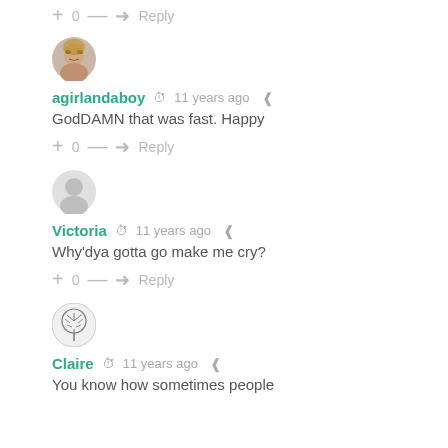+ 0 — Reply (top vote row, partial)
[Figure (photo): Circular avatar photo of agirlandaboy, showing a woman's face]
agirlandaboy  11 years ago
GodDAMN that was fast. Happy
+ 0 — Reply
[Figure (illustration): Generic circular gray avatar silhouette for Victoria]
Victoria  11 years ago
Why'dya gotta go make me cry?
+ 0 — Reply
[Figure (illustration): Circular avatar with tree/leaf illustration for Claire]
Claire  11 years ago
You know how sometimes people
(text continues below visible area)